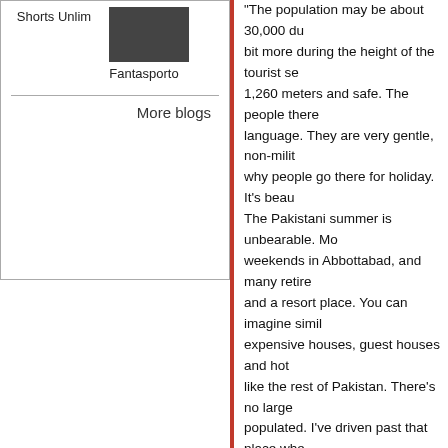Shorts Unlim
[Figure (photo): Small thumbnail image, dark/black content]
Fantasporto
More blogs
“The population may be about 30,000 du... bit more during the height of the tourist se... 1,260 meters and safe. The people there... language. They are very gentle, non-milit... why people go there for holiday. It’s beau... The Pakistani summer is unbearable. Mo... weekends in Abbottabad, and many retire... and a resort place. You can imagine simil... expensive houses, guest houses and hot... like the rest of Pakistan. There’s no large... populated. I’ve driven past that place whe... whenever I go there I’ve never booked ah... accomodations in the small number of gu... popular. I’ve often driven past looking for... the big military academy which is an elite... and all the sons of rich people in the army... people. There’s kind of an elite West Poir... close to this military academy. It would ha... of senior people MUST HAVE known he w... example, being both the place where lots... government, I wouldn’t be surprised if Mu... It’s the only place he could go to be cool.... a huge security police presence there. If I... room pretty soon the intelligence people k... everyone in the town knows I’m there, an... LADEN could have been there, that long,...
Also, a lot of retired ISI (the Pakistani inte... I go there because when we need to film...